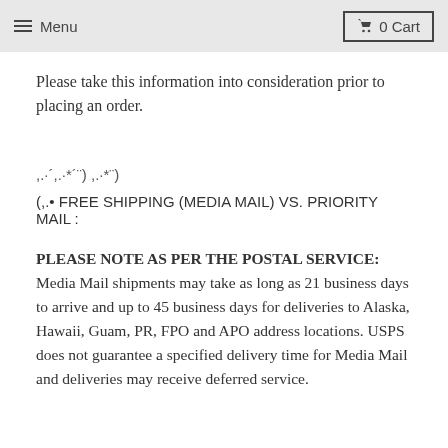≡ Menu  🛒 0 Cart
Please take this information into consideration prior to placing an order.
,.·´,.·*´¨) ,.·*¨)
(,.• FREE SHIPPING (MEDIA MAIL) VS. PRIORITY MAIL :
PLEASE NOTE AS PER THE POSTAL SERVICE: Media Mail shipments may take as long as 21 business days to arrive and up to 45 business days for deliveries to Alaska, Hawaii, Guam, PR, FPO and APO address locations. USPS does not guarantee a specified delivery time for Media Mail and deliveries may receive deferred service.